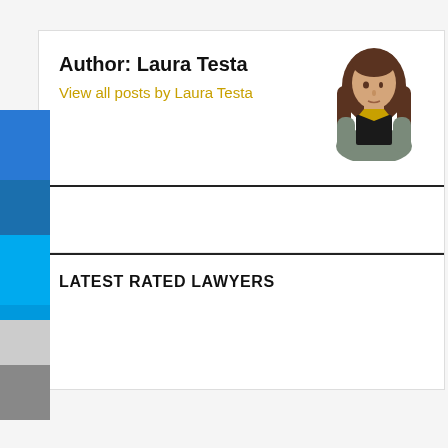Author: Laura Testa
View all posts by Laura Testa
[Figure (illustration): Illustrated avatar of Laura Testa — a woman with long brown hair wearing a gray jacket and black top]
LATEST RATED LAWYERS